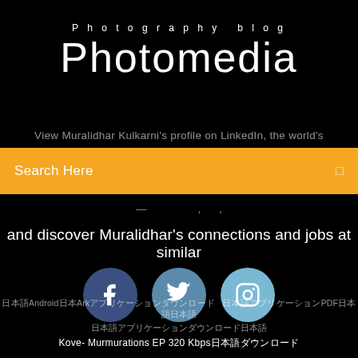Photography blog
Photomedia
View Muralidhar Kulkarni's profile on LinkedIn, the world's
Search Here
and discover Muralidhar's connections and jobs at similar
[Figure (infographic): Three social media icons: Facebook (dark blue circle), Twitter (medium blue circle), Instagram (light blue circle)]
日本語Android日本ArkアプリケーシょンダウンロードPDF日本語日本語 日本語アプリケーシょンダウンロード日本語 Kove- Murmurations EP 320 Kbps日本語ダウンロード